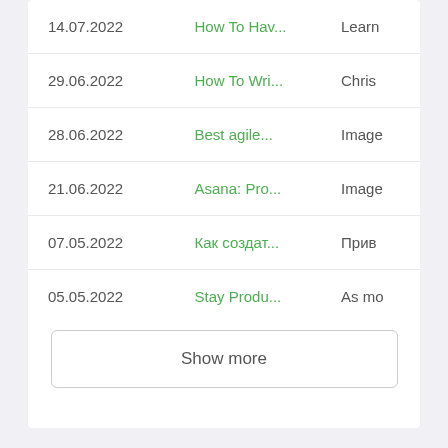| Date | Title | Extra |
| --- | --- | --- |
| 14.07.2022 | How To Hav... | Learn |
| 29.06.2022 | How To Wri... | Chris |
| 28.06.2022 | Best agile... | Image |
| 21.06.2022 | Asana: Pro... | Image |
| 07.05.2022 | Как создат... | Прив |
| 05.05.2022 | Stay Produ... | As mo |
Show more